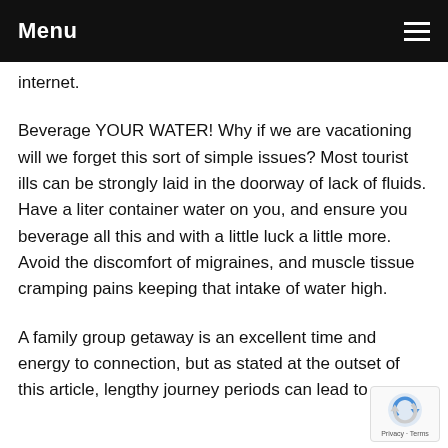Menu
internet.
Beverage YOUR WATER! Why if we are vacationing will we forget this sort of simple issues? Most tourist ills can be strongly laid in the doorway of lack of fluids. Have a liter container water on you, and ensure you beverage all this and with a little luck a little more. Avoid the discomfort of migraines, and muscle tissue cramping pains keeping that intake of water high.
A family group getaway is an excellent time and energy to connection, but as stated at the outset of this article, lengthy journey periods can lead to